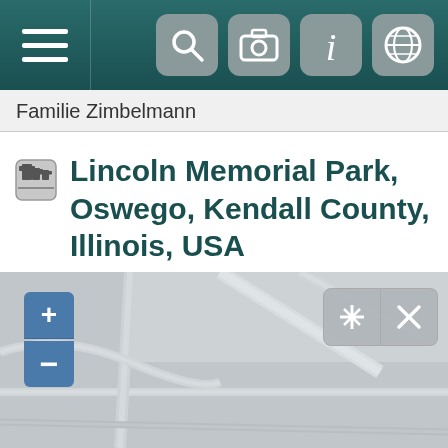Familie Zimbelmann
Lincoln Memorial Park, Oswego, Kendall County, Illinois, USA
[Figure (map): Map view showing Lincoln Memorial Park area in Oswego, Kendall County, Illinois with zoom controls and map action buttons]